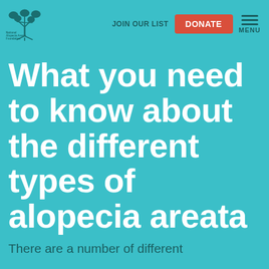National Alopecia Areata Foundation | JOIN OUR LIST | DONATE | MENU
What you need to know about the different types of alopecia areata
There are a number of different types of alopecia areata